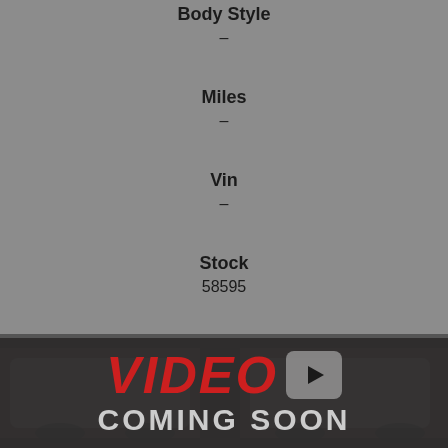Body Style
–
Miles
–
Vin
–
Stock
58595
[Figure (screenshot): VIDEO COMING SOON banner with YouTube-style play button over dark car background]